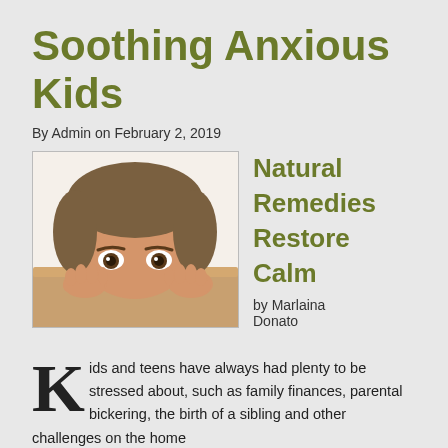Soothing Anxious Kids
By Admin on February 2, 2019
[Figure (photo): A young boy peeking over a surface with only his eyes and top of head visible, looking anxious or curious. White background.]
Natural Remedies Restore Calm
by Marlaina Donato
Kids and teens have always had plenty to be stressed about, such as family finances, parental bickering, the birth of a sibling and other challenges on the home